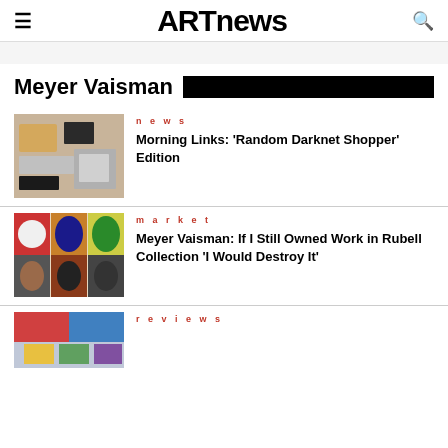ARTnews
Meyer Vaisman
news
Morning Links: 'Random Darknet Shopper' Edition
market
Meyer Vaisman: If I Still Owned Work in Rubell Collection 'I Would Destroy It'
reviews